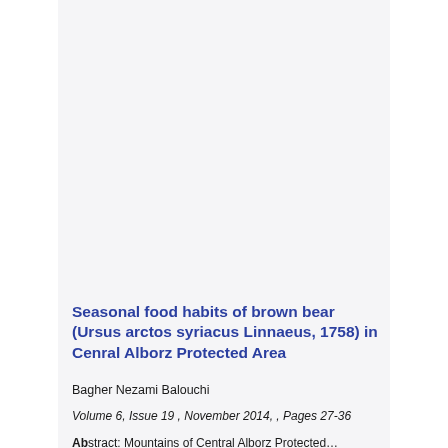Seasonal food habits of brown bear (Ursus arctos syriacus Linnaeus, 1758) in Cenral Alborz Protected Area
Bagher Nezami Balouchi
Volume 6, Issue 19 , November 2014, , Pages 27-36
Abstract: Mountains of Central Alborz Protected...